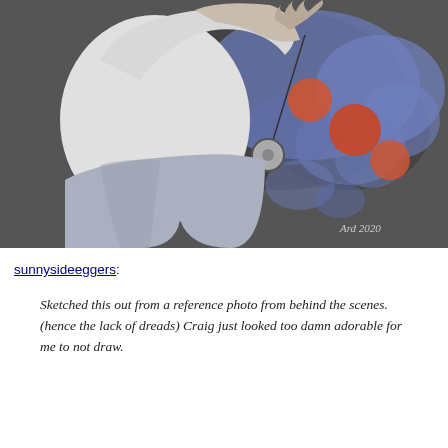[Figure (illustration): A sketch illustration of a person in a white sweater and gray shorts holding a yo-yo on a string, with a dark background featuring blue watercolor-like splashes and orange/red circles. Artist signature reads 'Ard 2020'.]
sunnysideeggers:
Sketched this out from a reference photo from behind the scenes. (hence the lack of dreads) Craig just looked too damn adorable for me to not draw.